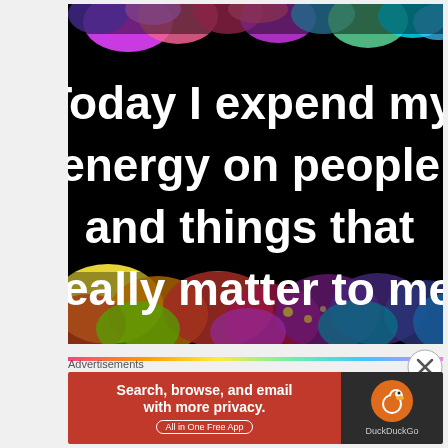[Figure (illustration): Motivational quote image with black background and colorful paint splashes at top and bottom. White bold text reads: 'Today I expend my energy on people and things that really matter to me.']
Advertisements
[Figure (infographic): DuckDuckGo advertisement banner with orange-red background. Text reads 'Search, browse, and email with more privacy. All in One Free App' with DuckDuckGo logo on dark background on the right.]